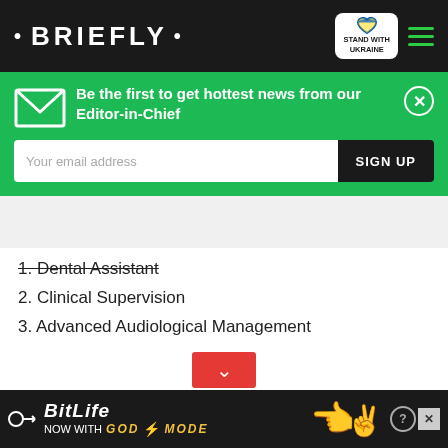• BRIEFLY •
Be the first to get hottest news from our Editor-in-Chief
1. Dental Assistant
2. Clinical Supervision
3. Advanced Audiological Management
4. Aesthetic Dentistry: Posterior Aesthetic Restorations
in Wound Management
sing and Analysing Microbial
[Figure (screenshot): Video loading spinner overlay on black background with loading circle animation]
[Figure (screenshot): BitLife advertisement banner: 'NOW WITH GOD MODE' with sperm icon and hand graphic]